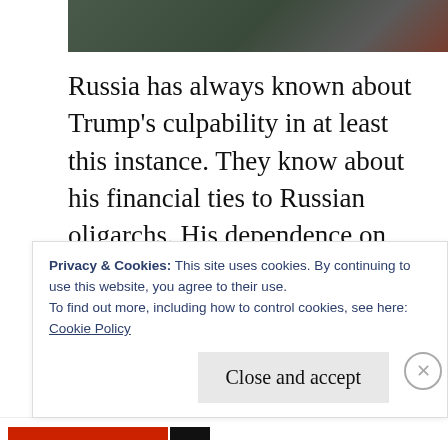[Figure (photo): Partial photo of a person in a suit with a red and white striped tie, background is dark/green]
Russia has always known about Trump's culpability in at least this instance. They know about his financial ties to Russian oligarchs. His dependence on Russian funding over the years and even his relationship with the Russian mob in New York. This is why Trump bends over everytime Putin is near, and the information is coming out a piece at a time on a daily basis. One claim Trump won't be able to credibly
Privacy & Cookies: This site uses cookies. By continuing to use this website, you agree to their use.
To find out more, including how to control cookies, see here:
Cookie Policy
Close and accept